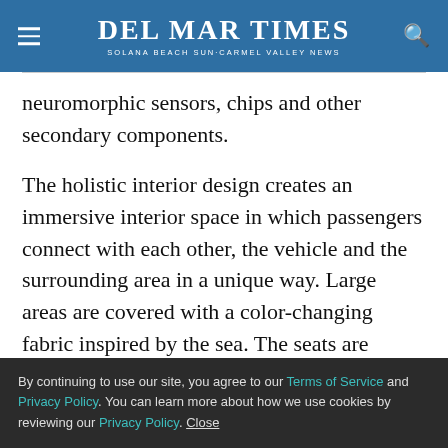Del Mar Times · Solana Beach Sun-Carmel Valley News
neuromorphic sensors, chips and other secondary components.
The holistic interior design creates an immersive interior space in which passengers connect with each other, the vehicle and the surrounding area in a unique way. Large areas are covered with a color-changing fabric inspired by the sea. The seats are covered in vegan, sustainable DINAMICA® leather microfiber fabric.
By continuing to use our site, you agree to our Terms of Service and Privacy Policy. You can learn more about how we use cookies by reviewing our Privacy Policy. Close